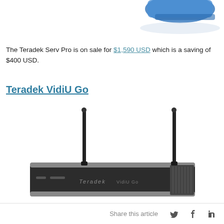[Figure (photo): Partial view of Teradek Serv Pro device (blue/teal color, cropped at top of page)]
The Teradek Serv Pro is on sale for $1,590 USD which is a saving of $400 USD.
Teradek VidiU Go
[Figure (photo): Teradek VidiU Go wireless streaming device with two antennas on a dark flat-panel body with Teradek branding]
Share this article